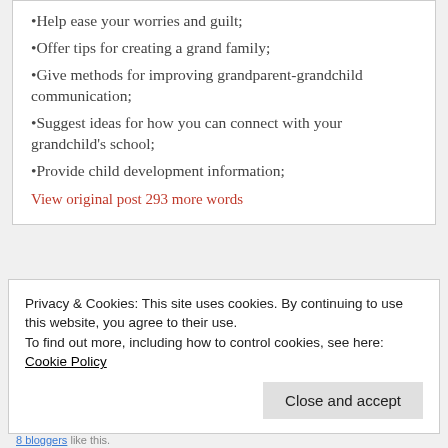•Help ease your worries and guilt;
•Offer tips for creating a grand family;
•Give methods for improving grandparent-grandchild communication;
•Suggest ideas for how you can connect with your grandchild's school;
•Provide child development information;
View original post 293 more words
Privacy & Cookies: This site uses cookies. By continuing to use this website, you agree to their use. To find out more, including how to control cookies, see here: Cookie Policy
Close and accept